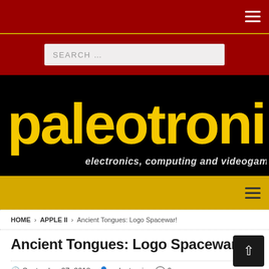Paleotronic - electronics, computing and videogame history
[Figure (logo): Paleotronic logo in yellow on black background with tagline 'electronics, computing and videogame history']
HOME > APPLE II > Ancient Tongues: Logo Spacewar!
Ancient Tongues: Logo Spacewar!
September 27, 2018  paleotronic  0